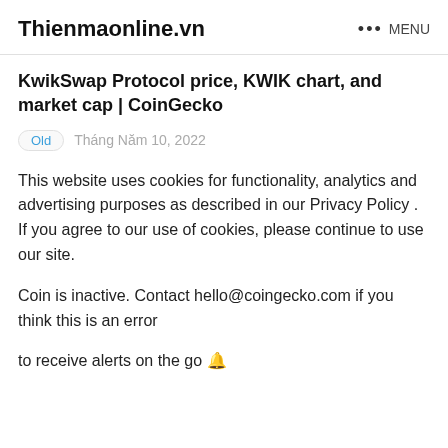Thienmaonline.vn  ••• MENU
KwikSwap Protocol price, KWIK chart, and market cap | CoinGecko
Old   Tháng Năm 10, 2022
This website uses cookies for functionality, analytics and advertising purposes as described in our Privacy Policy . If you agree to our use of cookies, please continue to use our site.
Coin is inactive. Contact hello@coingecko.com if you think this is an error
to receive alerts on the go 🔔